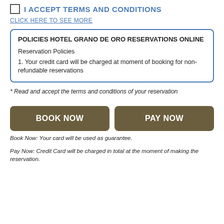I ACCEPT TERMS AND CONDITIONS
CLICK HERE TO SEE MORE
POLICIES HOTEL GRANO DE ORO RESERVATIONS ONLINE
Reservation Policies
1. Your credit card will be charged at moment of booking for non-refundable reservations
* Read and accept the terms and conditions of your reservation
[Figure (other): Two buttons: BOOK NOW and PAY NOW]
Book Now: Your card will be used as guarantee.
Pay Now: Credit Card will be charged in total at the moment of making the reservation.